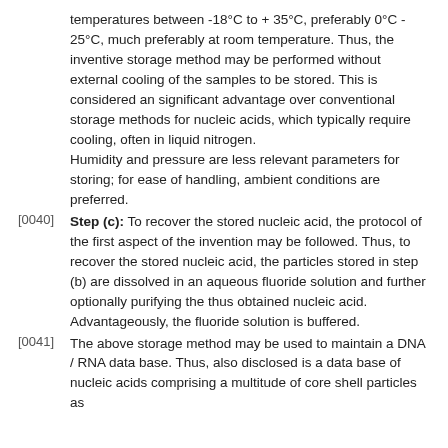temperatures between -18°C to + 35°C, preferably 0°C - 25°C, much preferably at room temperature. Thus, the inventive storage method may be performed without external cooling of the samples to be stored. This is considered an significant advantage over conventional storage methods for nucleic acids, which typically require cooling, often in liquid nitrogen. Humidity and pressure are less relevant parameters for storing; for ease of handling, ambient conditions are preferred.
[0040] Step (c): To recover the stored nucleic acid, the protocol of the first aspect of the invention may be followed. Thus, to recover the stored nucleic acid, the particles stored in step (b) are dissolved in an aqueous fluoride solution and further optionally purifying the thus obtained nucleic acid. Advantageously, the fluoride solution is buffered.
[0041] The above storage method may be used to maintain a DNA / RNA data base. Thus, also disclosed is a data base of nucleic acids comprising a multitude of core shell particles as